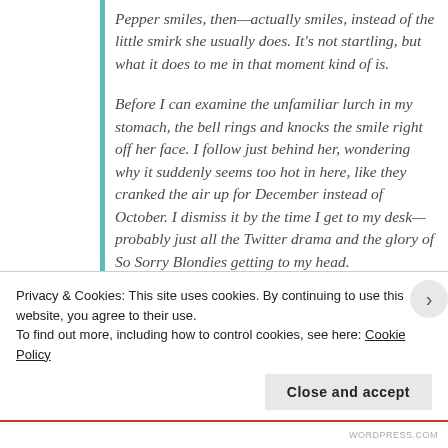Pepper smiles, then—actually smiles, instead of the little smirk she usually does. It's not startling, but what it does to me in that moment kind of is.
Before I can examine the unfamiliar lurch in my stomach, the bell rings and knocks the smile right off her face. I follow just behind her, wondering why it suddenly seems too hot in here, like they cranked the air up for December instead of October. I dismiss it by the time I get to my desk—probably just all the Twitter drama and the glory of So Sorry Blondies getting to my head.
"One rule," she says, as we sit in the last two desks
Privacy & Cookies: This site uses cookies. By continuing to use this website, you agree to their use.
To find out more, including how to control cookies, see here: Cookie Policy
Close and accept
WORDPRESS.COM